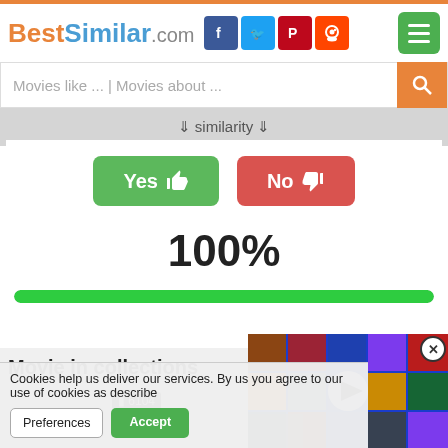BestSimilar.com
Movies like ... | Movies about ...
⇓ similarity ⇓
[Figure (screenshot): Yes (thumbs up) and No (thumbs down) voting buttons, green and red respectively]
100%
[Figure (infographic): Full green progress bar at 100%]
Movie in collections
6104
Cookies help us deliver our services. By us you agree to our use of cookies as describe
Preferences   Accept
[Figure (screenshot): Video player overlay with colorful movie thumbnail grid and play button, X close button]